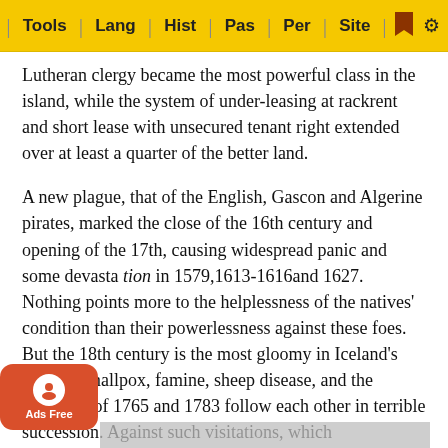Tools | Lang | Hist | Pas | Per | Site
Lutheran clergy became the most powerful class in the island, while the system of under-leasing at rackrent and short lease with unsecured tenant right extended over at least a quarter of the better land.
A new plague, that of the English, Gascon and Algerine pirates, marked the close of the 16th century and opening of the 17th, causing widespread panic and some devasta tion in 1579,1613-1616and 1627. Nothing points more to the helplessness of the natives’ condition than their powerlessness against these foes. But the 18th century is the most gloomy in Iceland’s annals. Smallpox, famine, sheep disease, and the eruptions of 1765 and 1783 follow each other in terrible succession. Against such visitations, which …ced the population by about a fourth, little could be …. The few literary men, whose work was done and whose books were published abroad, were only concerned with the past, a… …ert Olafs…